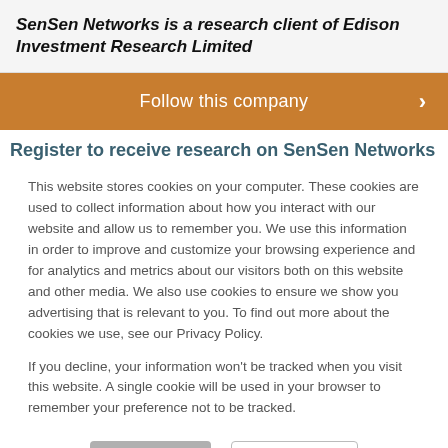SenSen Networks is a research client of Edison Investment Research Limited
[Figure (other): Orange banner button with text 'Follow this company' and a right-arrow chevron]
Register to receive research on SenSen Networks as it is
This website stores cookies on your computer. These cookies are used to collect information about how you interact with our website and allow us to remember you. We use this information in order to improve and customize your browsing experience and for analytics and metrics about our visitors both on this website and other media. We also use cookies to ensure we show you advertising that is relevant to you. To find out more about the cookies we use, see our Privacy Policy.
If you decline, your information won't be tracked when you visit this website. A single cookie will be used in your browser to remember your preference not to be tracked.
Accept | Decline